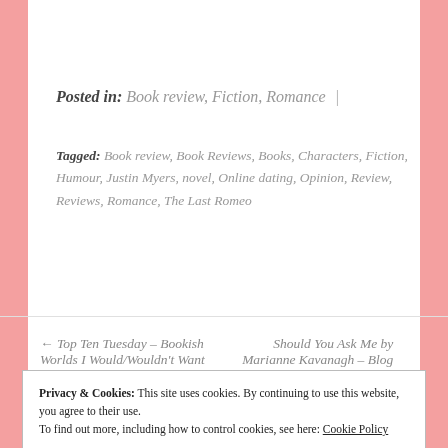Posted in: Book review, Fiction, Romance |
Tagged: Book review, Book Reviews, Books, Characters, Fiction, Humour, Justin Myers, novel, Online dating, Opinion, Review, Reviews, Romance, The Last Romeo
← Top Ten Tuesday – Bookish Worlds I Would/Wouldn't Want
Should You Ask Me by Marianne Kavanagh – Blog
Privacy & Cookies: This site uses cookies. By continuing to use this website, you agree to their use.
To find out more, including how to control cookies, see here: Cookie Policy
Close and accept
ONE THOUGHT ON